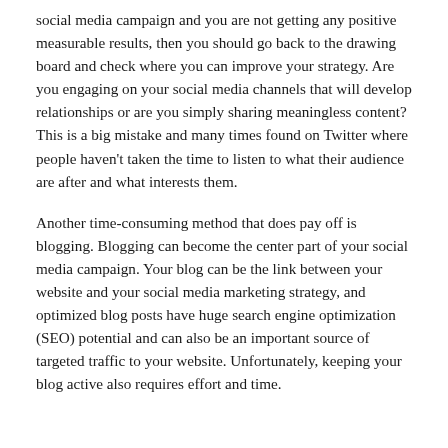social media campaign and you are not getting any positive measurable results, then you should go back to the drawing board and check where you can improve your strategy. Are you engaging on your social media channels that will develop relationships or are you simply sharing meaningless content? This is a big mistake and many times found on Twitter where people haven't taken the time to listen to what their audience are after and what interests them.
Another time-consuming method that does pay off is blogging. Blogging can become the center part of your social media campaign. Your blog can be the link between your website and your social media marketing strategy, and optimized blog posts have huge search engine optimization (SEO) potential and can also be an important source of targeted traffic to your website. Unfortunately, keeping your blog active also requires effort and time.